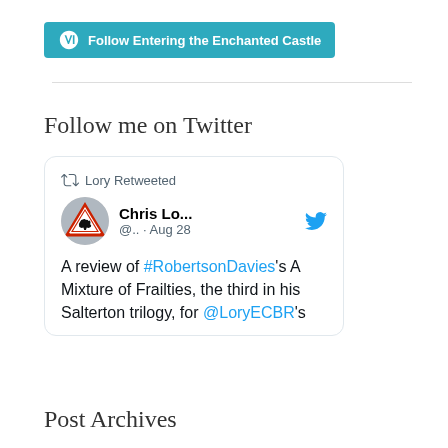[Figure (other): WordPress Follow button: teal/cyan button with WordPress logo and text 'Follow Entering the Enchanted Castle']
Follow me on Twitter
[Figure (screenshot): Embedded tweet card: Lory Retweeted. Chris Lo... @.. · Aug 28. A review of #RobertsonDavies's A Mixture of Frailties, the third in his Salterton trilogy, for @LoryECBR's]
Post Archives